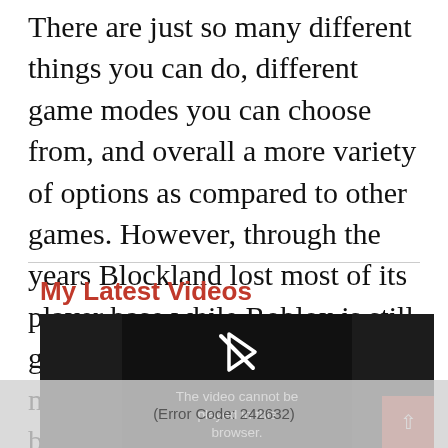There are just so many different things you can do, different game modes you can choose from, and overall a more variety of options as compared to other games. However, through the years Blockland lost most of its player base while Roblox is still going strong with around 100 million active monthly users back in 2018.
My Latest Videos
[Figure (screenshot): A video player showing an error message: 'The video cannot be played in this browser. (Error Code: 242632)' with a play icon crossed out, on a dark background.]